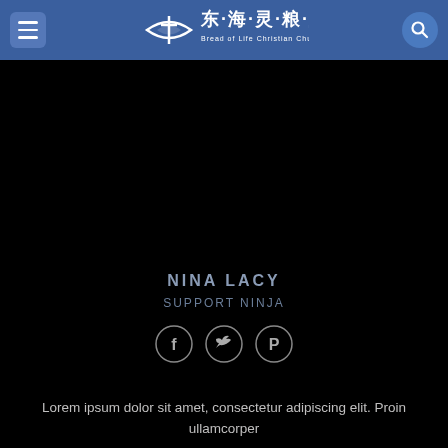[Figure (logo): Blue navigation header with hamburger menu button on left, church logo and Chinese text with subtitle 'Bread of Life Christian Church in TungHai' in center, search icon on right]
NINA LACY
SUPPORT NINJA
[Figure (illustration): Three circular social media icons: Facebook (f), Twitter (bird), Pinterest (P) arranged horizontally]
Lorem ipsum dolor sit amet, consectetur adipiscing elit. Proin ullamcorper